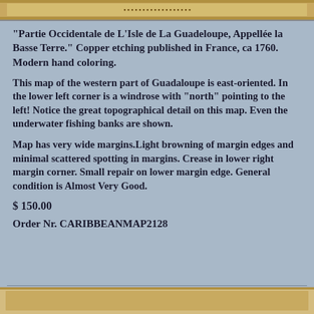[Figure (illustration): Top portion of an antique map illustration, cropped at top of page]
"Partie Occidentale de L'Isle de La Guadeloupe, Appellée la Basse Terre." Copper etching published in France, ca 1760. Modern hand coloring.
This map of the western part of Guadaloupe is east-oriented. In the lower left corner is a windrose with "north" pointing to the left! Notice the great topographical detail on this map. Even the underwater fishing banks are shown.
Map has very wide margins.Light browning of margin edges and minimal scattered spotting in margins. Crease in lower right margin corner. Small repair on lower margin edge. General condition is Almost Very Good.
$ 150.00
Order Nr. CARIBBEANMAP2128
[Figure (illustration): Bottom portion of an antique map illustration, cropped at bottom of page]